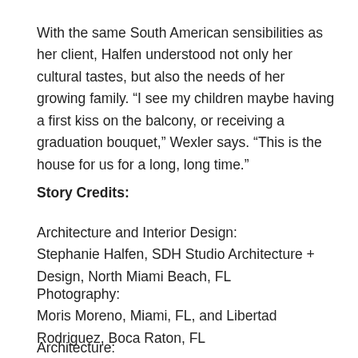With the same South American sensibilities as her client, Halfen understood not only her cultural tastes, but also the needs of her growing family. “I see my children maybe having a first kiss on the balcony, or receiving a graduation bouquet,” Wexler says. “This is the house for us for a long, long time.”
Story Credits:
Architecture and Interior Design:
Stephanie Halfen, SDH Studio Architecture + Design, North Miami Beach, FL
Photography:
Moris Moreno, Miami, FL, and Libertad Rodriguez, Boca Raton, FL
Architecture: